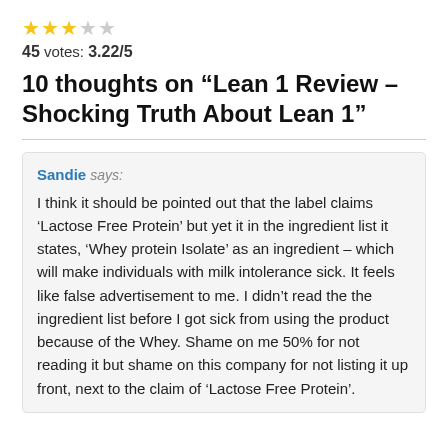[Figure (other): Star rating: 3 filled stars, 2 empty stars]
45 votes: 3.22/5
10 thoughts on “Lean 1 Review – Shocking Truth About Lean 1”
Sandie says: I think it should be pointed out that the label claims ‘Lactose Free Protein’ but yet it in the ingredient list it states, ‘Whey protein Isolate’ as an ingredient – which will make individuals with milk intolerance sick. It feels like false advertisement to me. I didn’t read the the ingredient list before I got sick from using the product because of the Whey. Shame on me 50% for not reading it but shame on this company for not listing it up front, next to the claim of ‘Lactose Free Protein’.